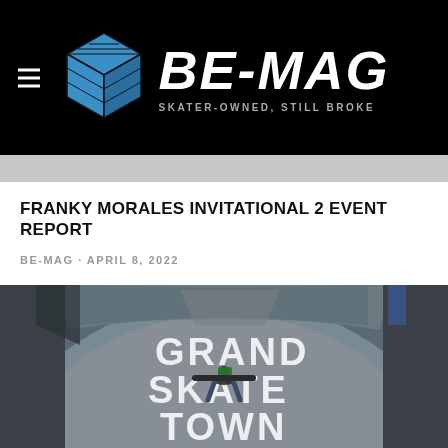BE-MAG · SKATER-OWNED, STILL BROKE
FRANKY MORALES INVITATIONAL 2 EVENT REPORT
BE-MAG · APRIL 8, 2022
[Figure (photo): Fisheye lens photo of a skate park floor with 'GRAND SKATE TOWN' painted in large white letters, a person lying spread-eagle on the floor holding a green object]